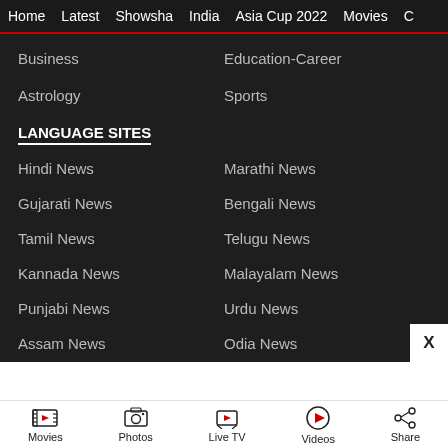Home   Latest   Showsha   India   Asia Cup 2022   Movies   C
Business
Education-Career
Astrology
Sports
LANGUAGE SITES
Hindi News
Marathi News
Gujarati News
Bengali News
Tamil News
Telugu News
Kannada News
Malayalam News
Punjabi News
Urdu News
Assam News
Odia News
Movies   Photos   Live TV   Videos   Share